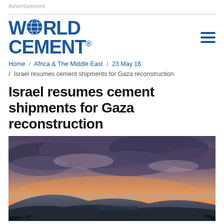Advertisement
[Figure (logo): World Cement logo with globe replacing the 'O' in WORLD, blue text]
Home / Africa & The Middle East / 23 May 16 / Israel resumes cement shipments for Gaza reconstruction
Israel resumes cement shipments for Gaza reconstruction
[Figure (photo): Landscape photo of a scenic hill/mountain view at sunset with dramatic cloudy sky in warm orange and purple tones]